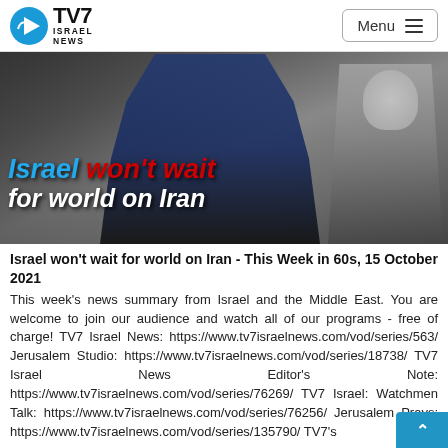TV7 ISRAEL NEWS | Menu
[Figure (photo): News broadcast thumbnail showing a man in a suit speaking at a podium with an elderly man in the background. Overlaid text reads: Israel won't wait for world on Iran]
Israel won't wait for world on Iran - This Week in 60s, 15 October 2021
This week's news summary from Israel and the Middle East. You are welcome to join our audience and watch all of our programs - free of charge! TV7 Israel News: https://www.tv7israelnews.com/vod/series/563/ Jerusalem Studio: https://www.tv7israelnews.com/vod/series/18738/ TV7 Israel News Editor's Note: https://www.tv7israelnews.com/vod/series/76269/ TV7 Israel: Watchmen Talk: https://www.tv7israelnews.com/vod/series/76256/ Jerusalem Prays: https://www.tv7israelnews.com/vod/series/135790/ TV7's